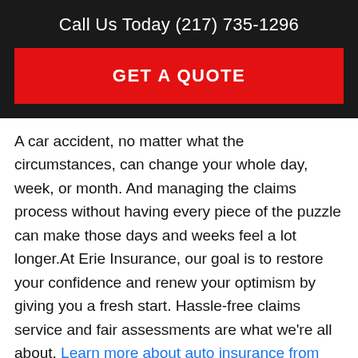Call Us Today (217) 735-1296
GET A QUOTE
A car accident, no matter what the circumstances, can change your whole day, week, or month. And managing the claims process without having every piece of the puzzle can make those days and weeks feel a lot longer.At Erie Insurance, our goal is to restore your confidence and renew your optimism by giving you a fresh start. Hassle-free claims service and fair assessments are what we're all about. Learn more about auto insurance from ERIE or talk to your local ERIE agent to make sure you have everything you need to get back on the road and back to your life.